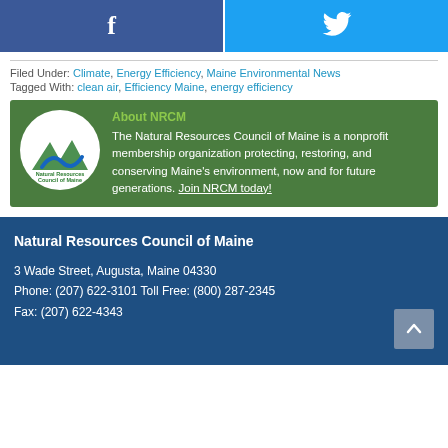[Figure (other): Social share buttons: Facebook (dark blue) and Twitter (light blue) side by side]
Filed Under: Climate, Energy Efficiency, Maine Environmental News
Tagged With: clean air, Efficiency Maine, energy efficiency
[Figure (other): About NRCM box with Natural Resources Council of Maine logo and description text. The Natural Resources Council of Maine is a nonprofit membership organization protecting, restoring, and conserving Maine's environment, now and for future generations. Join NRCM today!]
Natural Resources Council of Maine
3 Wade Street, Augusta, Maine 04330
Phone: (207) 622-3101  Toll Free: (800) 287-2345
Fax: (207) 622-4343